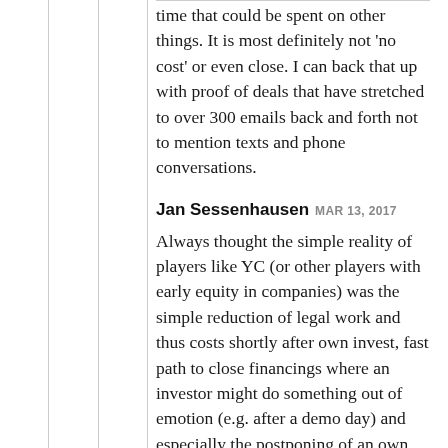time that could be spent on other things. It is most definitely not 'no cost' or even close. I can back that up with proof of deals that have stretched to over 300 emails back and forth not to mention texts and phone conversations.
Jan Sessenhausen MAR 13, 2017
Always thought the simple reality of players like YC (or other players with early equity in companies) was the simple reduction of legal work and thus costs shortly after own invest, fast path to close financings where an investor might do something out of emotion (e.g. after a demo day) and especially the postponing of an own decision whether